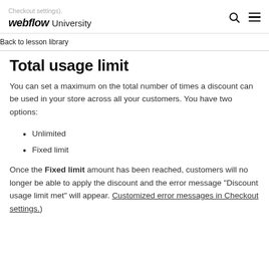Checkout settings). webflow University
Back to lesson library
Total usage limit
You can set a maximum on the total number of times a discount can be used in your store across all your customers. You have two options:
Unlimited
Fixed limit
Once the Fixed limit amount has been reached, customers will no longer be able to apply the discount and the error message “Discount usage limit met” will appear. (Customized error messages in Checkout settings.)